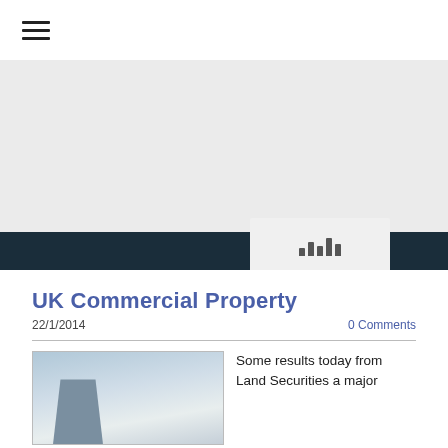[Figure (screenshot): Website banner area with light grey background and a dark navy horizontal bar at the bottom. A light card overlay on the right side of the dark bar contains a small bar chart icon.]
UK Commercial Property
22/1/2014
0 Comments
[Figure (photo): Photograph of a modern glass commercial building with mountains in the background and a hazy sky.]
Some results today from Land Securities a major